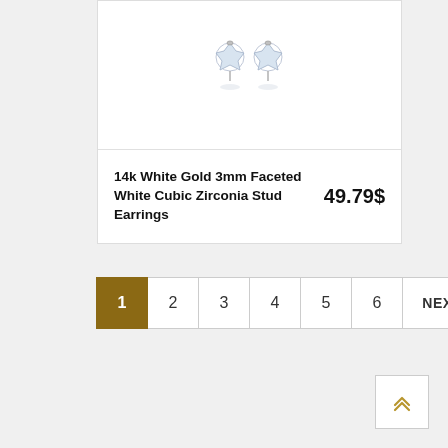[Figure (photo): 14k White Gold 3mm Faceted White Cubic Zirconia Stud Earrings product photo on white background]
14k White Gold 3mm Faceted White Cubic Zirconia Stud Earrings
49.79$
1 2 3 4 5 6 NEXT